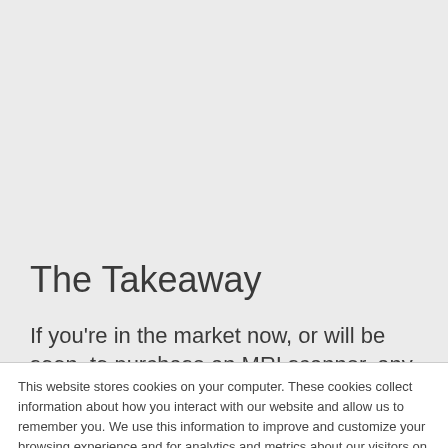The Takeaway
If you're in the market now, or will be soon, to purchase an MRI scanner, any Siemens MRI
This website stores cookies on your computer. These cookies collect information about how you interact with our website and allow us to remember you. We use this information to improve and customize your browsing experience and for analytics and metrics about our visitors on this website and other media. To find out more about these cookies, see our Privacy Policy
Accept